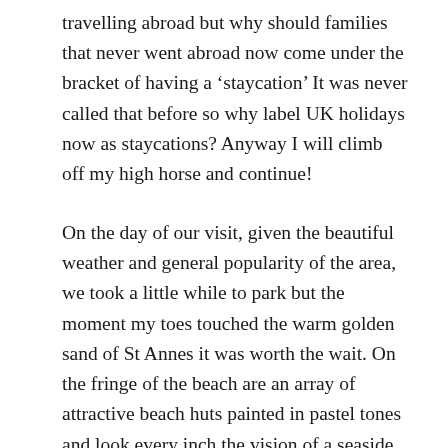travelling abroad but why should families that never went abroad now come under the bracket of having a ‘staycation’ It was never called that before so why label UK holidays now as staycations? Anyway I will climb off my high horse and continue!
On the day of our visit, given the beautiful weather and general popularity of the area, we took a little while to park but the moment my toes touched the warm golden sand of St Annes it was worth the wait. On the fringe of the beach are an array of attractive beach huts painted in pastel tones and look every inch the vision of a seaside tradition. Beach huts have a long history in St Annes and